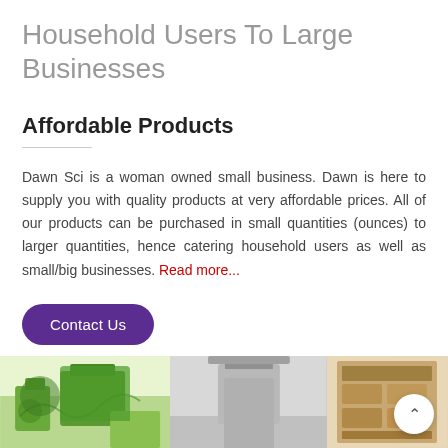Household Users To Large Businesses
Affordable Products
Dawn Sci is a woman owned small business. Dawn is here to supply you with quality products at very affordable prices. All of our products can be purchased in small quantities (ounces) to larger quantities, hence catering household users as well as small/big businesses. Read more...
Contact Us
[Figure (photo): Three panel image strip at bottom: left panel shows hands gardening with green plants, middle panel shows a kitchen range hood in gray/silver, right panel shows a wooden shelf with bottles.]